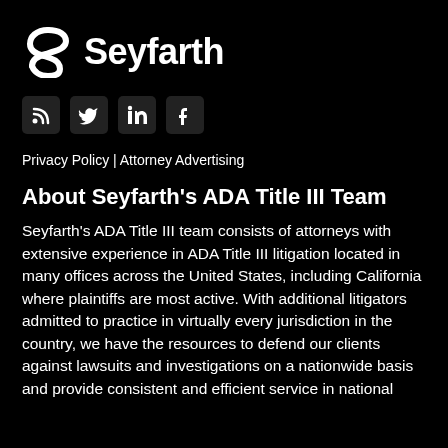[Figure (logo): Seyfarth logo with stylized S icon and 'Seyfarth' wordmark in white on black background]
[Figure (infographic): Four social media icons: RSS feed, Twitter, LinkedIn, Facebook — white icons on dark rounded square backgrounds]
Privacy Policy | Attorney Advertising
About Seyfarth's ADA Title III Team
Seyfarth's ADA Title III team consists of attorneys with extensive experience in ADA Title III litigation located in many offices across the United States, including California where plaintiffs are most active. With additional litigators admitted to practice in virtually every jurisdiction in the country, we have the resources to defend our clients against lawsuits and investigations on a nationwide basis and provide consistent and efficient service in national